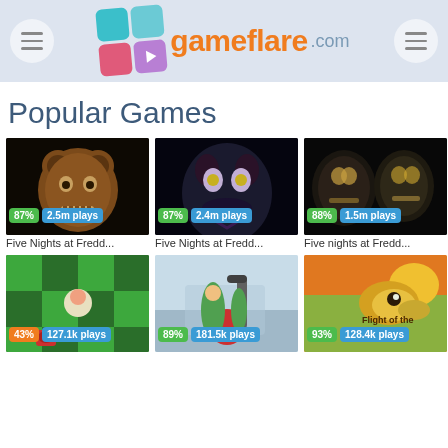gameflare.com
Popular Games
[Figure (screenshot): Five Nights at Freddy's game thumbnail - animatronic bear in dark setting. 87% rating, 2.5m plays]
Five Nights at Fredd...
[Figure (screenshot): Five Nights at Freddy's 4 game thumbnail - dark animatronic face with glowing eyes. 87% rating, 2.4m plays]
Five Nights at Fredd...
[Figure (screenshot): Five Nights at Freddy's game thumbnail - two dark animatronics. 88% rating, 1.5m plays]
Five nights at Fredd...
[Figure (screenshot): Green grid puzzle game screenshot. 43% rating, 127.1k plays]
[Figure (screenshot): Animated character in gym with exercise equipment. 89% rating, 181.5k plays]
[Figure (screenshot): Flight of the Hamsters game - cartoon hamster flying. 93% rating, 128.4k plays]